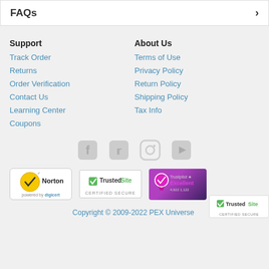FAQs
Support
Track Order
Returns
Order Verification
Contact Us
Learning Center
Coupons
About Us
Terms of Use
Privacy Policy
Return Policy
Shipping Policy
Tax Info
[Figure (illustration): Social media icons: Facebook, Twitter, Instagram, YouTube]
[Figure (illustration): Trust badges: Norton powered by DigiCert, TrustedSite Certified Secure, Trustpilot Excellent]
Copyright © 2009-2022 PEX Universe